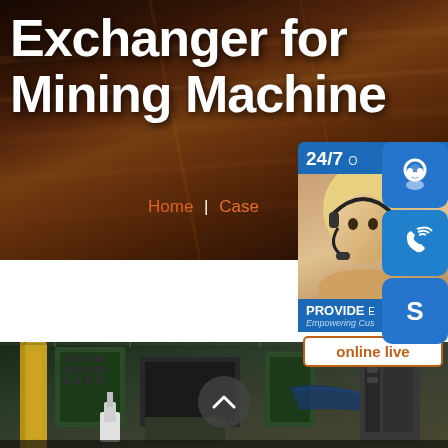[Figure (photo): Hero banner with dark industrial background showing metal sheets/pipes, with large white bold title text 'Exchanger for Mining Machine' and navigation links 'Home | Case' in orange]
Exchanger for Mining Machine
Home | Case
[Figure (infographic): Customer service sidebar widget showing 24/7 support with a woman wearing headset, 'PROVIDE Empowering Customers' text, 'online live' button, and three blue icon buttons for headset, phone, and Skype]
[Figure (photo): Bottom photo showing industrial factory floor with mining/processing machinery including green equipment frames, yellow pillar, and various mechanical components]